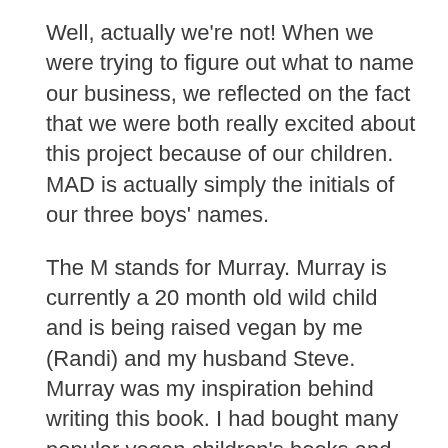Well, actually we're not! When we were trying to figure out what to name our business, we reflected on the fact that we were both really excited about this project because of our children. MAD is actually simply the initials of our three boys' names.
The M stands for Murray. Murray is currently a 20 month old wild child and is being raised vegan by me (Randi) and my husband Steve. Murray was my inspiration behind writing this book. I had bought many popular vegan children's books and didn't really find any that speak directly to my child. So, I decided to write one that really focuses on a